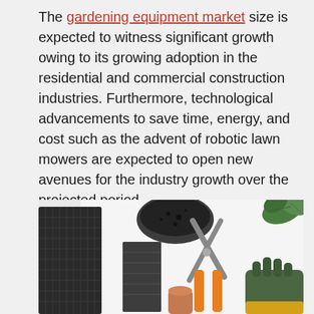The gardening equipment market size is expected to witness significant growth owing to its growing adoption in the residential and commercial construction industries. Furthermore, technological advancements to save time, energy, and cost such as the advent of robotic lawn mowers are expected to open new avenues for the industry growth over the projected period.
[Figure (photo): Overhead flat-lay photo of gardening equipment on a white surface, including a black mesh planting tray, a dark round pot, a dark brick-shaped object, orange-handled pruning shears, a small terracotta pot cylinder, a green gardening glove, and green leaves from a plant in the upper right corner.]